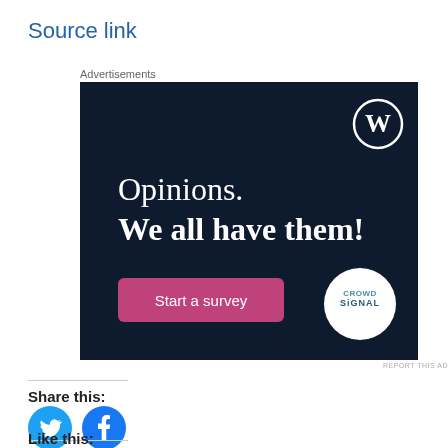Source link
Advertisements
[Figure (screenshot): Advertisement banner with dark navy background. Shows WordPress logo (W in circle) at top right. Text reads 'Opinions. We all have them!' in white serif font. Pink/magenta button says 'Start a survey'. Crowdsignal logo in white circle at bottom right.]
REPORT THIS AD
Share this:
[Figure (other): Twitter and Facebook circular social share buttons in blue]
Like this: